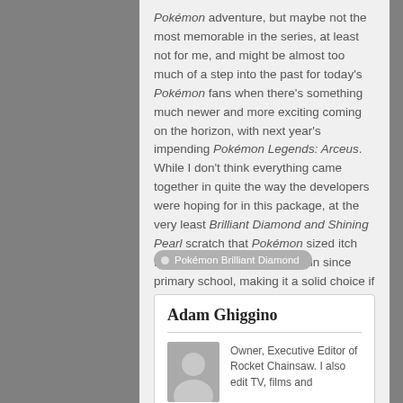Pokémon adventure, but maybe not the most memorable in the series, at least not for me, and might be almost too much of a step into the past for today's Pokémon fans when there's something much newer and more exciting coming on the horizon, with next year's impending Pokémon Legends: Arceus. While I don't think everything came together in quite the way the developers were hoping for in this package, at the very least Brilliant Diamond and Shining Pearl scratch that Pokémon sized itch that's existed in my lizard brain since primary school, making it a solid choice if you suffer from the same affliction.
Pokémon Brilliant Diamond
Adam Ghiggino
Owner, Executive Editor of Rocket Chainsaw. I also edit TV, films and